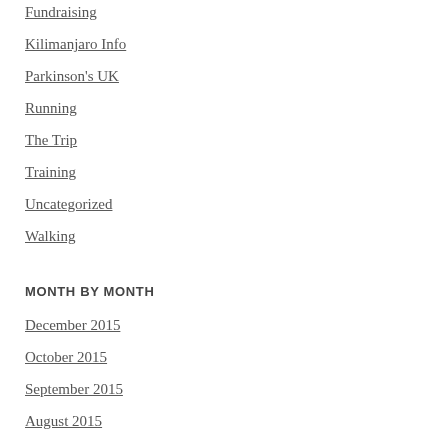Fundraising
Kilimanjaro Info
Parkinson's UK
Running
The Trip
Training
Uncategorized
Walking
MONTH BY MONTH
December 2015
October 2015
September 2015
August 2015
July 2015
June 2015
May 2015